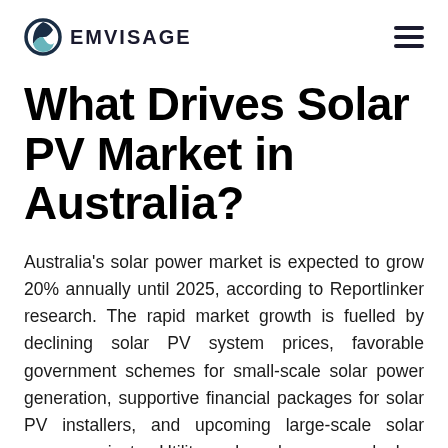EMVISAGE
What Drives Solar PV Market in Australia?
Australia's solar power market is expected to grow 20% annually until 2025, according to Reportlinker research. The rapid market growth is fuelled by declining solar PV system prices, favorable government schemes for small-scale solar power generation, supportive financial packages for solar PV installers, and upcoming large-scale solar power projects. Utility-scale solar power deployments are expected to witness the fastest